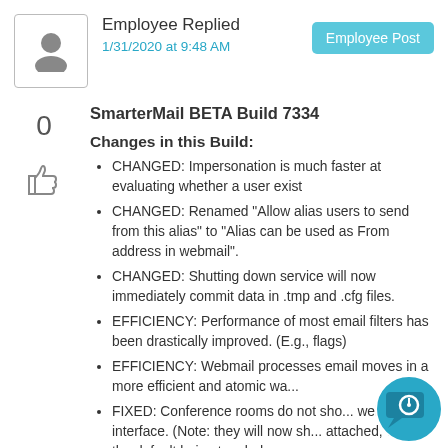Employee Replied
1/31/2020 at 9:48 AM
SmarterMail BETA Build 7334
Changes in this Build:
CHANGED: Impersonation is much faster at evaluating whether a user exist
CHANGED: Renamed "Allow alias users to send from this alias" to "Alias can be used as From address in webmail".
CHANGED: Shutting down service will now immediately commit data in .tmp and .cfg files.
EFFICIENCY: Performance of most email filters has been drastically improved. (E.g., flags)
EFFICIENCY: Webmail processes email moves in a more efficient and atomic wa...
FIXED: Conference rooms do not sho... web interface. (Note: they will now sh... attached, with the default being toggled...
FIXED: If a temp file is corrupted, it is not